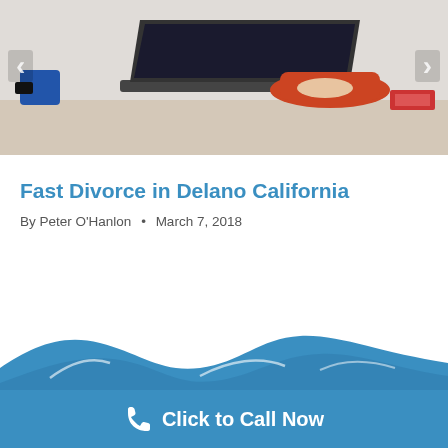[Figure (photo): Person in red shirt working on a laptop at a desk, viewed from the side. Navigation arrows visible on left and right sides of the image carousel.]
Fast Divorce in Delano California
By Peter O'Hanlon  •  March 7, 2018
[Figure (other): Pagination dots: 6 dots, first one dark/active, rest light gray]
[Figure (other): Blue circular chat/message button in lower right area]
[Figure (illustration): Blue wave decorative graphic at bottom of page above the call-to-action bar]
Click to Call Now